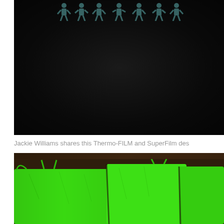[Figure (photo): Close-up photo of a black fabric/t-shirt with faint teal human figure silhouettes printed near the top edge]
Jackie Williams shares this Thermo-FILM and SuperFilm des
[Figure (photo): Photo of bright neon green drawstring bags laid flat on a dark brown wooden surface]